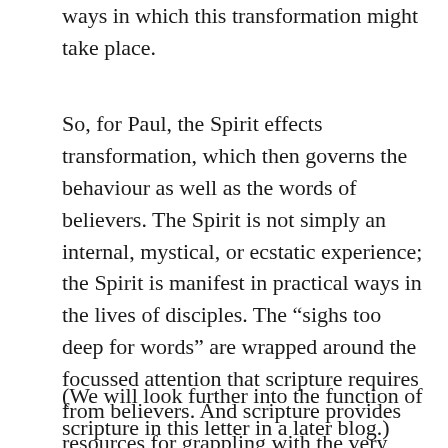ways in which this transformation might take place.
So, for Paul, the Spirit effects transformation, which then governs the behaviour as well as the words of believers. The Spirit is not simply an internal, mystical, or ecstatic experience; the Spirit is manifest in practical ways in the lives of disciples. The “sighs too deep for words” are wrapped around the focussed attention that scripture requires from believers. And scripture provides resources for grappling with the very issues about which the Spirit groans and sighs.
(We will look further into the function of scripture in this letter in a later blog.)